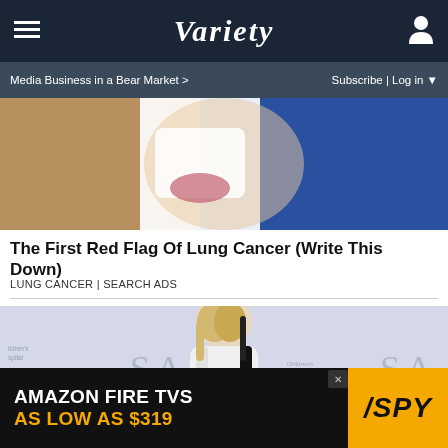VARIETY — Media Business in a Bear Market > | Subscribe | Log in
[Figure (photo): Close-up photo of person's lower face with white fabric, used as ad image for lung cancer article]
The First Red Flag Of Lung Cancer (Write This Down)
LUNG CANCER | SEARCH ADS
[Figure (photo): Young blonde woman in white blazer at charity event photocall with SAINT IRA GENU and Children's Hospital backdrop]
[Figure (photo): Amazon Fire TVs As Low As $319 advertisement with SPY logo]